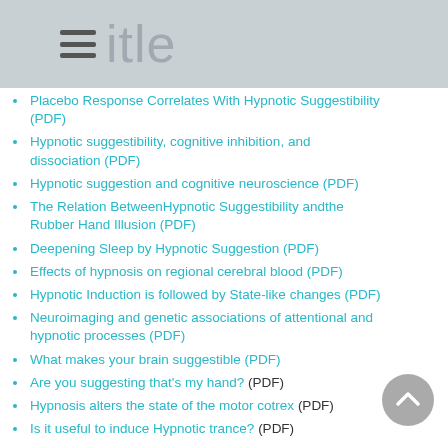Title
Placebo Response Correlates With Hypnotic Suggestibility (PDF)
Hypnotic suggestibility, cognitive inhibition, and dissociation (PDF)
Hypnotic suggestion and cognitive neuroscience (PDF)
The Relation BetweenHypnotic Suggestibility andthe Rubber Hand Illusion (PDF)
Deepening Sleep by Hypnotic Suggestion (PDF)
Effects of hypnosis on regional cerebral blood (PDF)
Hypnotic Induction is followed by State-like changes (PDF)
Neuroimaging and genetic associations of attentional and hypnotic processes (PDF)
What makes your brain suggestible (PDF)
Are you suggesting that’s my hand? (PDF)
Hypnosis alters the state of the motor cotrex (PDF)
Is it useful to induce Hypnotic trance? (PDF)